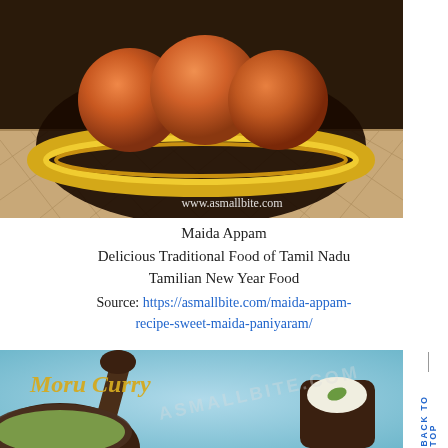[Figure (photo): Photo of Maida Appam (deep fried round balls) served in a gold bowl on a wicker mat. Watermark: www.asmallbite.com]
Maida Appam
Delicious Traditional Food of Tamil Nadu
Tamilian New Year Food
Source: https://asmallbite.com/maida-appam-recipe-sweet-maida-paniyaram/
[Figure (photo): Photo of Moru Curry dish - a South Indian yogurt-based curry served in a dark bowl, with a wooden spoon and a small cup of yogurt, light blue background. Title text 'Moru Curry' in gold cursive. 'BACK TO TOP' vertical text on right side.]